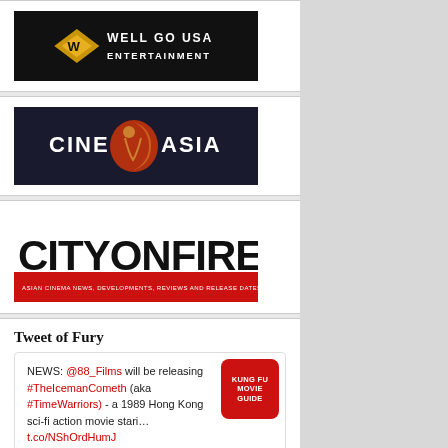[Figure (logo): Well Go USA Entertainment logo — white text on black background with gold diamond W emblem]
[Figure (logo): CineAsia logo — white text with red/gold moon and figure emblem on dark navy background]
[Figure (logo): CityOnFire logo — bold black text on white/red background with tagline 'Asian cinema news, developments, reviews and release dates']
Tweet of Fury
NEWS: @88_Films will be releasing #TheIcemanCometh (aka #TimeWarriors) - a 1989 Hong Kong sci-fi action movie stari... t.co/NShOrdHumJ